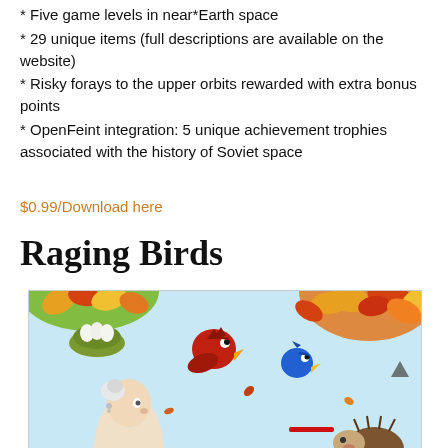* Five game levels in near*Earth space
* 29 unique items (full descriptions are available on the website)
* Risky forays to the upper orbits rewarded with extra bonus points
* OpenFeint integration: 5 unique achievement trophies associated with the history of Soviet space
$0.99/Download here
Raging Birds
[Figure (screenshot): Screenshot of Raging Birds game showing cartoon birds, colorful autumn leaves, a nest with eggs, and cartoon characters against a light blue sky background.]